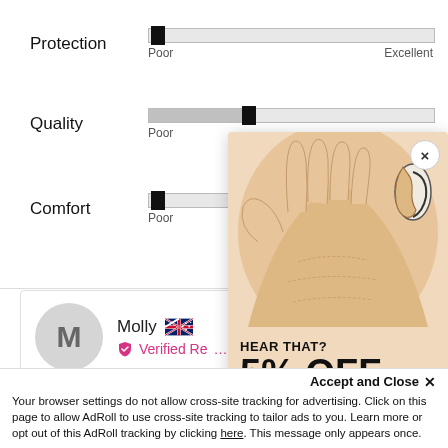[Figure (infographic): Product rating bars for Protection, Quality, and Comfort, each shown as a horizontal slider bar with Poor on the left and Excellent on the right. Protection bar thumb is near the far left. Quality bar is about 35% filled with thumb at that position. Comfort bar thumb is at the far left.]
[Figure (infographic): A popup advertisement showing an illustrated hand holding a hearing aid near an ear. Text reads HEAR THAT? 5% OFF WHEN YOU SIGN UP TO OUR NEWSLETTER with an email input button. A close X button is in the top right.]
M
Molly
Verified Re...
I recommend this product
Accept and Close ✕
Your browser settings do not allow cross-site tracking for advertising. Click on this page to allow AdRoll to use cross-site tracking to tailor ads to you. Learn more or opt out of this AdRoll tracking by clicking here. This message only appears once.